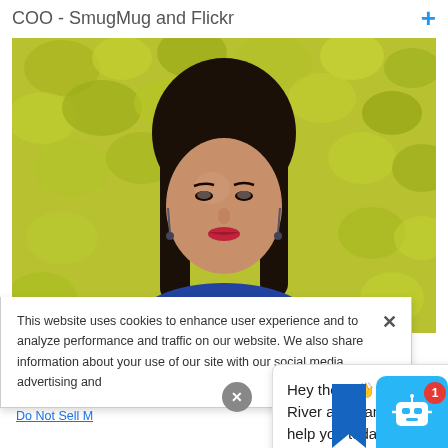COO - SmugMug and Flickr
[Figure (photo): Portrait photo of a woman with long dark hair, red lipstick, blue top, wearing drop earrings, against a yellow-green leafy background.]
This website uses cookies to enhance user experience and to analyze performance and traffic on our website. We also share information about your use of our site with our social media, advertising and
Do Not Sell M
Hey there 👋 I'm the Digital River assistant. How can I help you today?